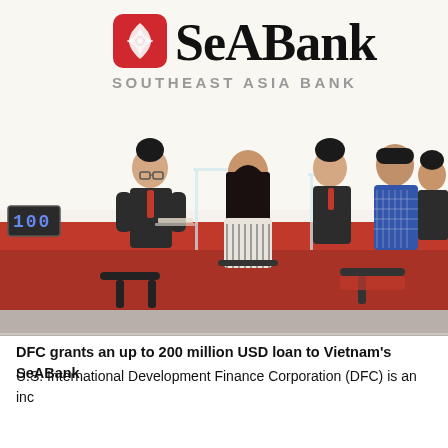[Figure (photo): Interior of a SeABank (Southeast Asia Bank) branch. The SeABank logo — a red rounded square with a diamond shape and the bold text 'SeABank' — is displayed prominently on the white wall, along with 'SOUTHEAST ASIA BANK' in grey lettering. Bank tellers in dark uniforms assist customers seated at a red counter. A number display showing '100' is visible on the counter. Multiple teller stations with acrylic dividers are visible.]
DFC grants an up to 200 million USD loan to Vietnam's SeABank
U.S. International Development Finance Corporation (DFC) is an inc